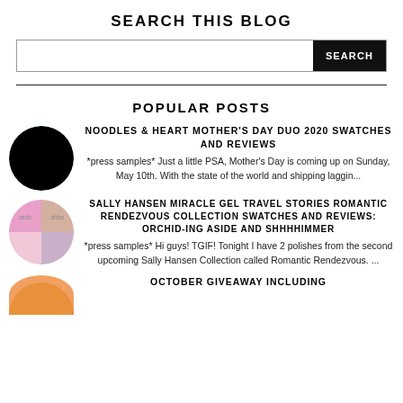SEARCH THIS BLOG
SEARCH
POPULAR POSTS
NOODLES & HEART MOTHER'S DAY DUO 2020 SWATCHES AND REVIEWS
*press samples* Just a little PSA, Mother's Day is coming up on Sunday, May 10th. With the state of the world and shipping laggin...
SALLY HANSEN MIRACLE GEL TRAVEL STORIES ROMANTIC RENDEZVOUS COLLECTION SWATCHES AND REVIEWS: ORCHID-ING ASIDE AND SHHHHIMMER
*press samples* Hi guys! TGIF! Tonight I have 2 polishes from the second upcoming Sally Hansen Collection called Romantic Rendezvous. ...
OCTOBER GIVEAWAY INCLUDING